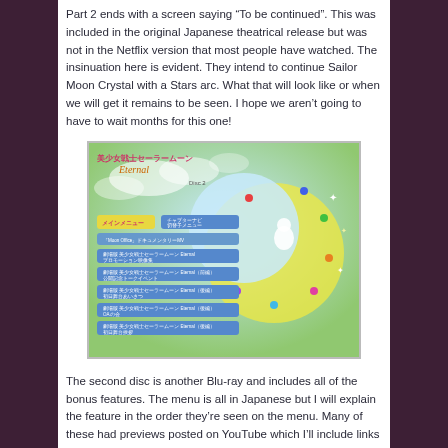Part 2 ends with a screen saying “To be continued”. This was included in the original Japanese theatrical release but was not in the Netflix version that most people have watched. The insinuation here is evident. They intend to continue Sailor Moon Crystal with a Stars arc. What that will look like or when we will get it remains to be seen. I hope we aren’t going to have to wait months for this one!
[Figure (screenshot): Sailor Moon Eternal Blu-ray disc 2 menu screenshot showing Japanese menu items with a crescent moon and character illustration on a blue-green background.]
The second disc is another Blu-ray and includes all of the bonus features. The menu is all in Japanese but I will explain the feature in the order they’re seen on the menu. Many of these had previews posted on YouTube which I’ll include links to. As with the movies these are only